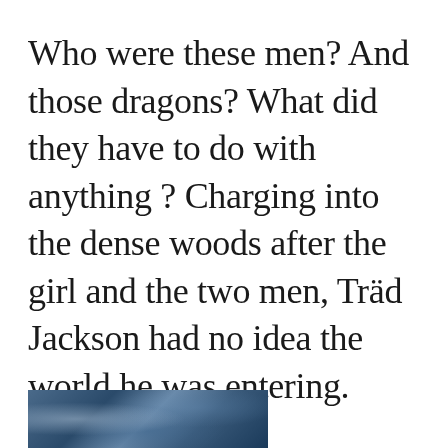Who were these men? And those dragons? What did they have to do with anything ? Charging into the dense woods after the girl and the two men, Träd Jackson had no idea the world he was entering.
[Figure (photo): Partial image strip at bottom showing a dark blue-toned scene, partially visible]